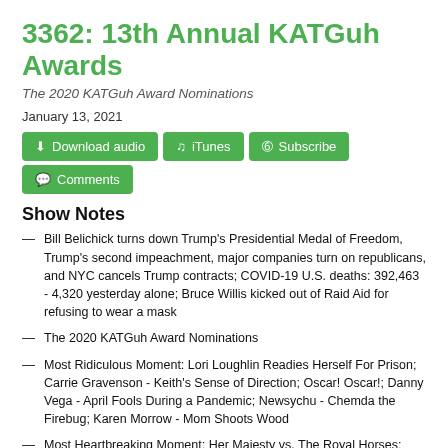3362: 13th Annual KATGuh Awards
The 2020 KATGuh Award Nominations
January 13, 2021
[Figure (other): Buttons: Download audio, iTunes, Subscribe, Comments]
Show Notes
Bill Belichick turns down Trump’s Presidential Medal of Freedom, Trump’s second impeachment, major companies turn on republicans, and NYC cancels Trump contracts; COVID-19 U.S. deaths: 392,463 - 4,320 yesterday alone; Bruce Willis kicked out of Raid Aid for refusing to wear a mask
The 2020 KATGuh Award Nominations
Most Ridiculous Moment: Lori Loughlin Readies Herself For Prison; Carrie Gravenson - Keith’s Sense of Direction; Oscar! Oscar!; Danny Vega - April Fools During a Pandemic; Newsychu - Chemda the Firebug; Karen Morrow - Mom Shoots Wood
Most Heartbreaking Moment: Her Majesty vs. The Royal Horses; Micah Sherman - The Duke and Duchess of WHAT?!; Kyle Ocasio - Being a Mom; Benny Ocasio - Kobe and Gigi Bryant; MAtt Baer - The Diamond